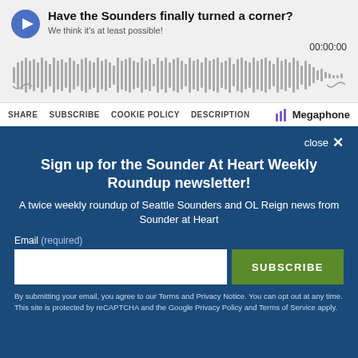[Figure (screenshot): Podcast player widget showing episode title 'Have the Sounders finally turned a corner?' with subtitle 'We think it's at least possible!', a play button, waveform visualization, timestamp 00:00:00, and a bottom bar with SHARE, SUBSCRIBE, COOKIE POLICY, DESCRIPTION links and Megaphone branding.]
close ×
Sign up for the Sounder At Heart Weekly Roundup newsletter!
A twice weekly roundup of Seattle Sounders and OL Reign news from Sounder at Heart
Email (required)
SUBSCRIBE
By submitting your email, you agree to our Terms and Privacy Notice. You can opt out at any time. This site is protected by reCAPTCHA and the Google Privacy Policy and Terms of Service apply.